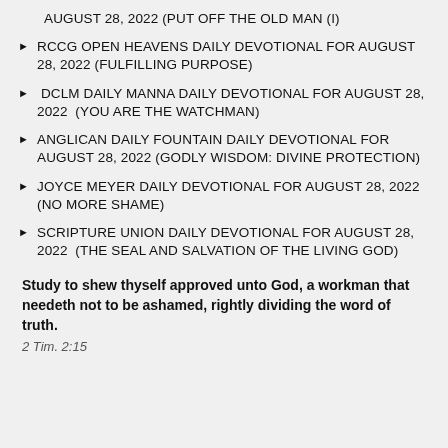AUGUST 28, 2022 (PUT OFF THE OLD MAN (I)
RCCG OPEN HEAVENS DAILY DEVOTIONAL FOR AUGUST 28, 2022 (FULFILLING PURPOSE)
DCLM DAILY MANNA DAILY DEVOTIONAL FOR AUGUST 28, 2022  (YOU ARE THE WATCHMAN)
ANGLICAN DAILY FOUNTAIN DAILY DEVOTIONAL FOR AUGUST 28, 2022 (GODLY WISDOM: DIVINE PROTECTION)
JOYCE MEYER DAILY DEVOTIONAL FOR AUGUST 28, 2022 (NO MORE SHAME)
SCRIPTURE UNION DAILY DEVOTIONAL FOR AUGUST 28, 2022  (THE SEAL AND SALVATION OF THE LIVING GOD)
Study to shew thyself approved unto God, a workman that needeth not to be ashamed, rightly dividing the word of truth.
2 Tim. 2:15